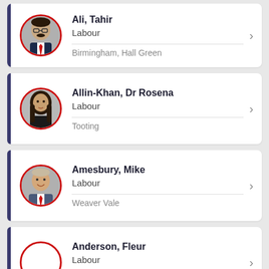Ali, Tahir | Labour | Birmingham, Hall Green
Allin-Khan, Dr Rosena | Labour | Tooting
Amesbury, Mike | Labour | Weaver Vale
Anderson, Fleur | Labour | Putney